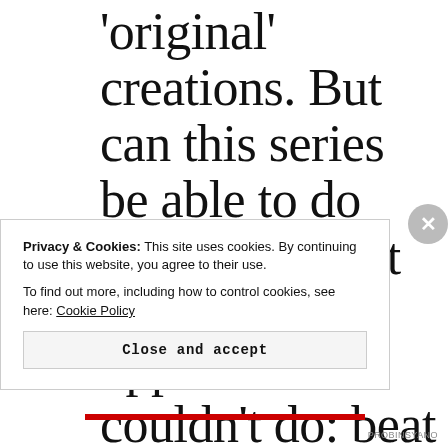'original' creations. But can this series be able to do something that nine previous opponent couldn't do: beat 'Ang Probinsyano'?
Privacy & Cookies: This site uses cookies. By continuing to use this website, you agree to their use. To find out more, including how to control cookies, see here: Cookie Policy
Close and accept